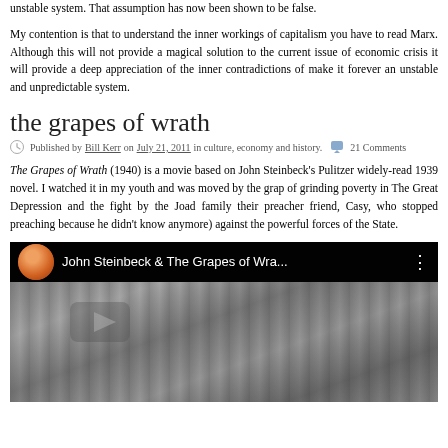unstable system. That assumption has now been shown to be false.
My contention is that to understand the inner workings of capitalism you have to read Marx. Although this will not provide a magical solution to the current issue of economic crisis it will provide a deep appreciation of the inner contradictions of make it forever an unstable and unpredictable system.
the grapes of wrath
Published by Bill Kerr on July 21, 2011 in culture, economy and history. 21 Comments
The Grapes of Wrath (1940) is a movie based on John Steinbeck's Pulitzer widely-read 1939 novel. I watched it in my youth and was moved by the grap of grinding poverty in The Great Depression and the fight by the Joad family their preacher friend, Casy, who stopped preaching because he didn't know anymore) against the powerful forces of the State.
[Figure (screenshot): YouTube video thumbnail for 'John Steinbeck & The Grapes of Wra...' showing a black and white image with a channel avatar of a man]